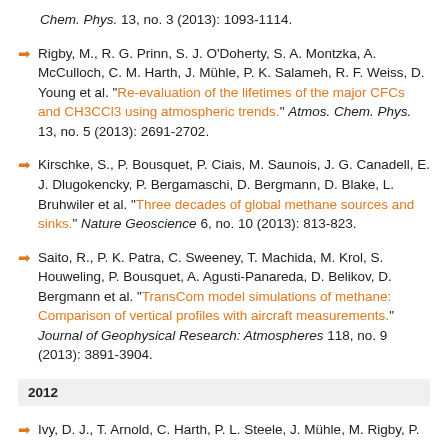Chem. Phys. 13, no. 3 (2013): 1093-1114.
Rigby, M., R. G. Prinn, S. J. O'Doherty, S. A. Montzka, A. McCulloch, C. M. Harth, J. Mühle, P. K. Salameh, R. F. Weiss, D. Young et al. "Re-evaluation of the lifetimes of the major CFCs and CH3CCl3 using atmospheric trends." Atmos. Chem. Phys. 13, no. 5 (2013): 2691-2702.
Kirschke, S., P. Bousquet, P. Ciais, M. Saunois, J. G. Canadell, E. J. Dlugokencky, P. Bergamaschi, D. Bergmann, D. Blake, L. Bruhwiler et al. "Three decades of global methane sources and sinks." Nature Geoscience 6, no. 10 (2013): 813-823.
Saito, R., P. K. Patra, C. Sweeney, T. Machida, M. Krol, S. Houweling, P. Bousquet, A. Agusti-Panareda, D. Belikov, D. Bergmann et al. "TransCom model simulations of methane: Comparison of vertical profiles with aircraft measurements." Journal of Geophysical Research: Atmospheres 118, no. 9 (2013): 3891-3904.
2012
Ivy, D. J., T. Arnold, C. Harth, P. L. Steele, J. Mühle, M. Rigby, P.